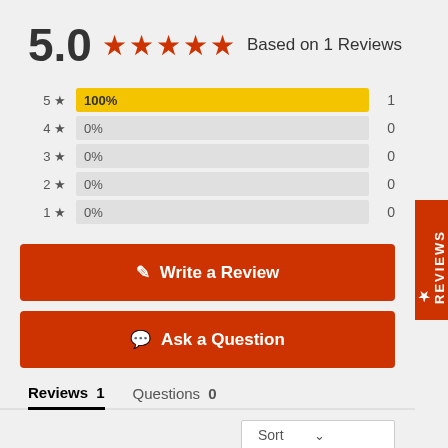5.0 ★★★★★ Based on 1 Reviews
[Figure (bar-chart): Star rating distribution]
Write a Review
Ask a Question
Reviews 1   Questions 0
Sort
Filter Reviews: